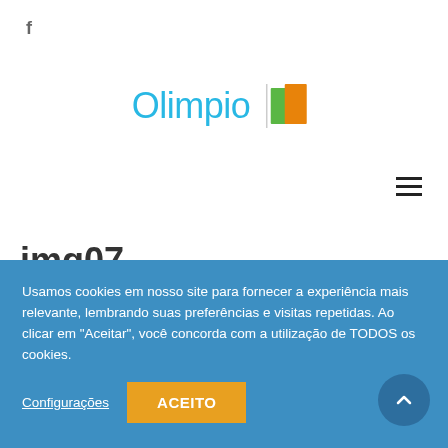f
[Figure (logo): Olimpio logo with blue text and orange/green book icon]
≡ (hamburger menu icon)
img07
You are here: Home / Atualização do Sistema – Nota 4.0 – Versão 1657 / img07
Usamos cookies em nosso site para fornecer a experiência mais relevante, lembrando suas preferências e visitas repetidas. Ao clicar em "Aceitar", você concorda com a utilização de TODOS os cookies.
Configurações   ACEITO